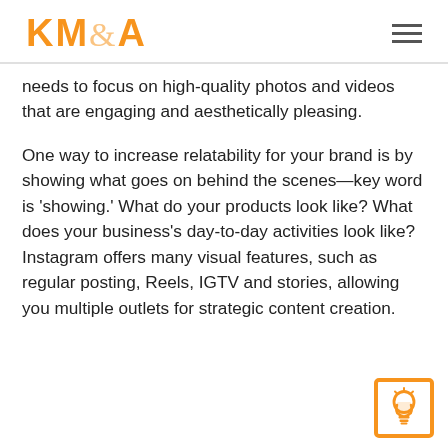KM&A
needs to focus on high-quality photos and videos that are engaging and aesthetically pleasing.
One way to increase relatability for your brand is by showing what goes on behind the scenes—key word is 'showing.' What do your products look like? What does your business's day-to-day activities look like? Instagram offers many visual features, such as regular posting, Reels, IGTV and stories, allowing you multiple outlets for strategic content creation.
[Figure (logo): Orange lightbulb icon in a square orange border, bottom right corner]